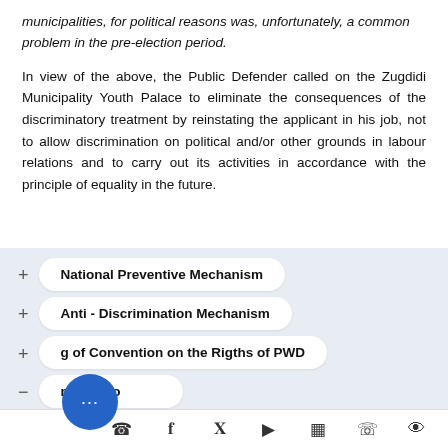municipalities, for political reasons was, unfortunately, a common problem in the pre-election period.
In view of the above, the Public Defender called on the Zugdidi Municipality Youth Palace to eliminate the consequences of the discriminatory treatment by reinstating the applicant in his job, not to allow discrimination on political and/or other grounds in labour relations and to carry out its activities in accordance with the principle of equality in the future.
National Preventive Mechanism
Anti - Discrimination Mechanism
g of Convention on the Rigths of PWD
mendatio